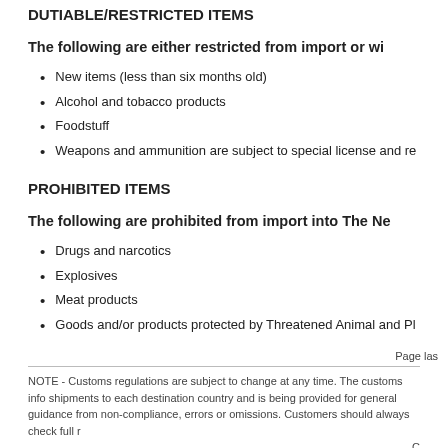DUTIABLE/RESTRICTED ITEMS
The following are either restricted from import or wi
New items (less than six months old)
Alcohol and tobacco products
Foodstuff
Weapons and ammunition are subject to special license and re
PROHIBITED ITEMS
The following are prohibited from import into The Ne
Drugs and narcotics
Explosives
Meat products
Goods and/or products protected by Threatened Animal and Pl
Page las
NOTE - Customs regulations are subject to change at any time. The customs info shipments to each destination country and is being provided for general guidance from non-compliance, errors or omissions. Customers should always check full r C